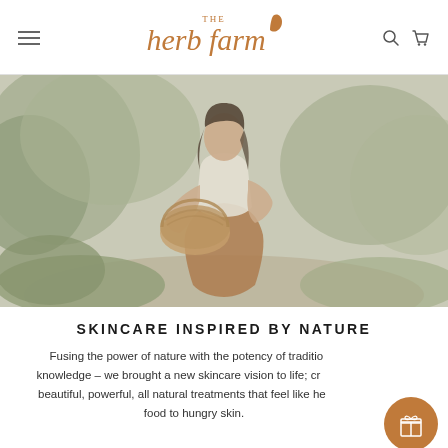The Herb Farm — navigation header with hamburger menu, logo, search and cart icons
[Figure (photo): Woman in a garden kneeling among green plants and shrubs, wearing a white sleeveless top and brown/rust skirt, holding a wicker basket. Soft, muted natural tones.]
SKINCARE INSPIRED BY NATURE
Fusing the power of nature with the potency of traditional knowledge – we brought a new skincare vision to life; creating beautiful, powerful, all natural treatments that feel like healthy food to hungry skin.